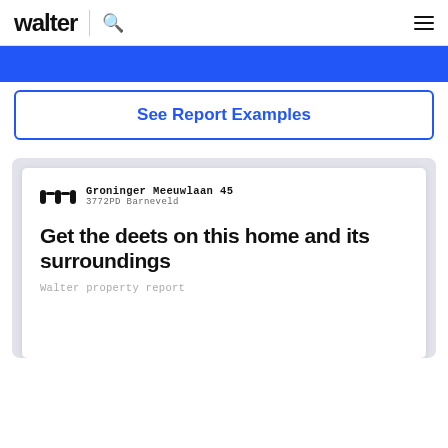walter | See Report Examples
[Figure (screenshot): Walter property report preview card showing address 'Groninger Meeuwlaan 45, 3772PD Barneveld' with Walter logo, title 'Get the deets on this home and its surroundings', and subtitle 'Walter property report']